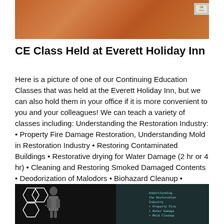[Figure (photo): Photo of a room interior with patterned carpet, taken from above, with a small sign or placard visible.]
CE Class Held at Everett Holiday Inn
Here is a picture of one of our Continuing Education Classes that was held at the Everett Holiday Inn, but we can also hold them in your office if it is more convenient to you and your colleagues! We can teach a variety of classes including: Understanding the Restoration Industry: • Property Fire Damage Restoration, Understanding Mold in Restoration Industry • Restoring Contaminated Buildings • Restorative drying for Water Damage (2 hr or 4 hr) • Cleaning and Restoring Smoked Damaged Contents • Deodorization of Malodors • Biohazard Cleanup • Mitigation Awareness & Response Seminar • Ethics Lunch and learns can also be a similar option for information if a less time consuming option is needed. Most courses can go towards your credit needed every two years as well.
[Figure (photo): Photo of a speaker at a podium in a dark room with a hexagonal light display on the left and a green/teal projection screen with text on the right.]